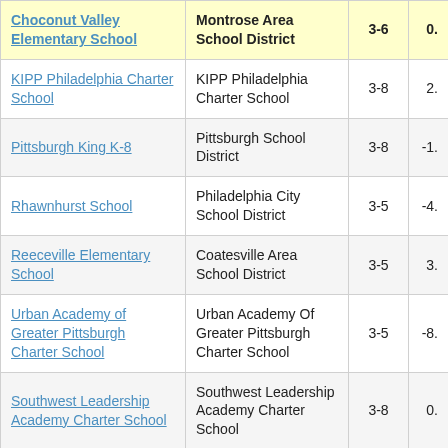| School | District | Grades | Value |
| --- | --- | --- | --- |
| Choconut Valley Elementary School | Montrose Area School District | 3-6 | 0. |
| KIPP Philadelphia Charter School | KIPP Philadelphia Charter School | 3-8 | 2. |
| Pittsburgh King K-8 | Pittsburgh School District | 3-8 | -1. |
| Rhawnhurst School | Philadelphia City School District | 3-5 | -4. |
| Reeceville Elementary School | Coatesville Area School District | 3-5 | 3. |
| Urban Academy of Greater Pittsburgh Charter School | Urban Academy Of Greater Pittsburgh Charter School | 3-5 | -8. |
| Southwest Leadership Academy Charter School | Southwest Leadership Academy Charter School | 3-8 | 0. |